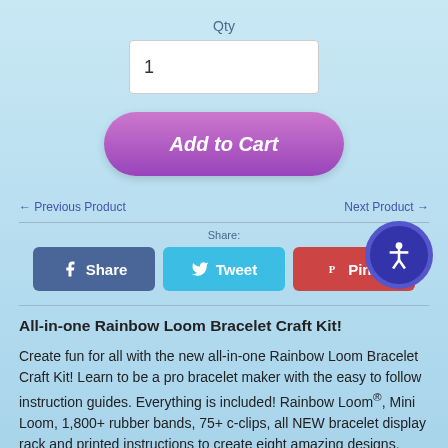Qty
1
Add to Cart
← Previous Product
Next Product →
Share:
Share
Tweet
Pin it
All-in-one Rainbow Loom Bracelet Craft Kit!
Create fun for all with the new all-in-one Rainbow Loom Bracelet Craft Kit! Learn to be a pro bracelet maker with the easy to follow instruction guides. Everything is included! Rainbow Loom®, Mini Loom, 1,800+ rubber bands, 75+ c-clips, all NEW bracelet display rack and printed instructions to create eight amazing designs. Additional instructions can be found at our Instructions page. The kit also comes with a organizer case for